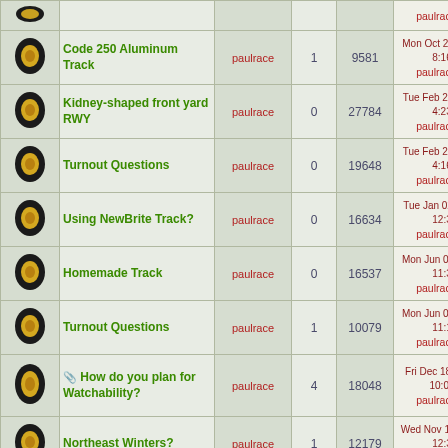|  | Topic | Author | Replies | Views | Last Post |
| --- | --- | --- | --- | --- | --- |
| [icon] | Code 250 Aluminum Track | paulrace | 1 | 9581 | Mon Oct 22, 2018 8:16
paulrace |
| [icon] | Kidney-shaped front yard RWY | paulrace | 0 | 27784 | Tue Feb 27, 2018 4:23
paulrace |
| [icon] | Turnout Questions | paulrace | 0 | 19648 | Tue Feb 27, 2018 4:16
paulrace |
| [icon] | Using NewBrite Track? | paulrace | 0 | 16634 | Tue Jan 02, 2018 12:3
paulrace |
| [icon] | Homemade Track | paulrace | 0 | 16537 | Mon Jun 06, 2016 11:3
paulrace |
| [icon] | Turnout Questions | paulrace | 1 | 10079 | Mon Jun 06, 2016 11:1
paulrace |
| [icon] | [attach] How do you plan for Watchability? | paulrace | 4 | 18048 | Fri Dec 18, 2015 10:04
paulrace |
| [icon] | Northeast Winters? | paulrace | 1 | 12179 | Wed Nov 11, 2015 12:3
paulrace |
| [icon] | What kind of track should I use? | paulrace | 7 | 20627 | Thu Aug 13, 2015 12:1
SteveF |
| [icon] | Operations on the Chumstick River and | SteveF | 1 | 19168 | Fri Aug 07, 2015 8:18 |